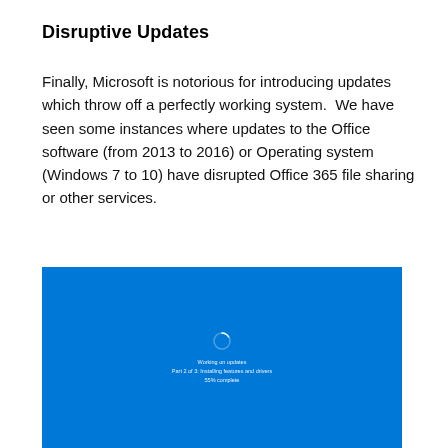Disruptive Updates
Finally, Microsoft is notorious for introducing updates which throw off a perfectly working system.  We have seen some instances where updates to the Office software (from 2013 to 2016) or Operating system (Windows 7 to 10) have disrupted Office 365 file sharing or other services.
[Figure (screenshot): Windows 10 blue screen showing 'Working on updates' with a spinning progress indicator and text 'Part 2 of 3: Installing features and drivers 55% complete']